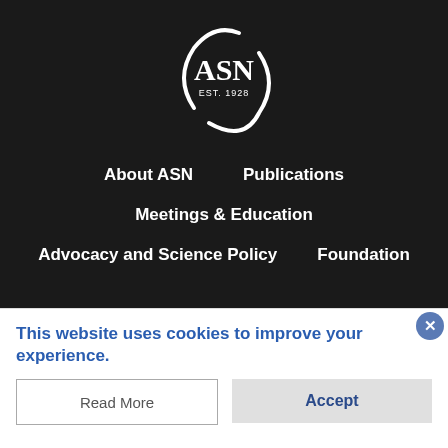[Figure (logo): ASN EST. 1928 logo — stylized circular swoosh in white with letters ASN and EST. 1928 below]
About ASN
Publications
Meetings & Education
Advocacy and Science Policy
Foundation
This website uses cookies to improve your experience.
Read More
Accept